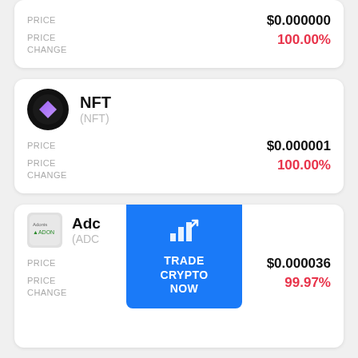| Field | Value |
| --- | --- |
| PRICE | $0.000000 |
| PRICE CHANGE | 100.00% |
[Figure (logo): NFT coin logo — black circle with purple diamond gem]
NFT (NFT)
| Field | Value |
| --- | --- |
| PRICE | $0.000001 |
| PRICE CHANGE | 100.00% |
[Figure (logo): Adonis coin logo — small image with green chart icon]
Adc (ADC)
[Figure (infographic): Blue overlay button: chart icon with text TRADE CRYPTO NOW]
| Field | Value |
| --- | --- |
| PRICE | $0.000036 |
| PRICE CHANGE | 99.97% |